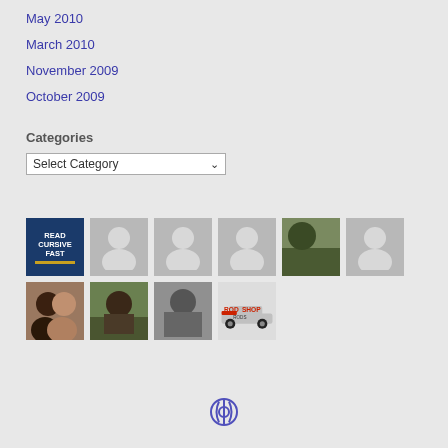May 2010
March 2010
November 2009
October 2009
Categories
Select Category
[Figure (other): Grid of avatar/profile thumbnails including a book cover, silhouettes, photos, and a logo]
[Figure (logo): WordPress logo icon at page footer]